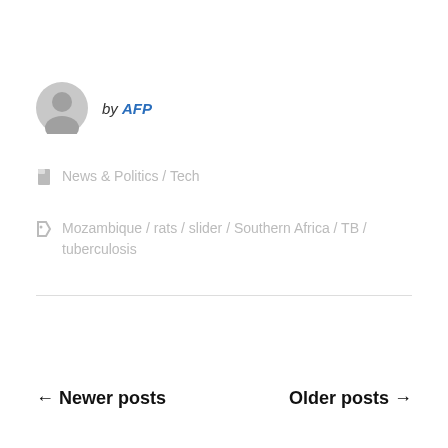by AFP
News & Politics / Tech
Mozambique / rats / slider / Southern Africa / TB / tuberculosis
← Newer posts
Older posts →